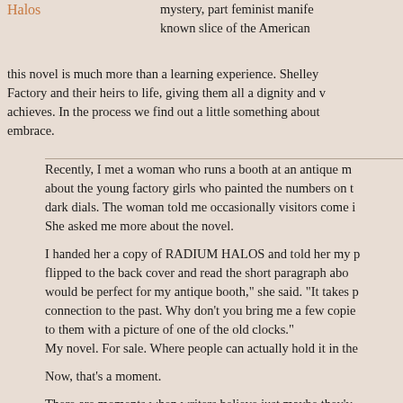Halos
mystery, part feminist manife known slice of the American this novel is much more than a learning experience. Shelley Factory and their heirs to life, giving them all a dignity and v achieves. In the process we find out a little something about embrace.
Recently, I met a woman who runs a booth at an antique m about the young factory girls who painted the numbers on t dark dials. The woman told me occasionally visitors come i She asked me more about the novel.

I handed her a copy of RADIUM HALOS and told her my p flipped to the back cover and read the short paragraph abo would be perfect for my antique booth," she said. "It takes p connection to the past. Why don't you bring me a few copie to them with a picture of one of the old clocks."
My novel. For sale. Where people can actually hold it in the

Now, that's a moment.

There are moments when writers believe just maybe they'v extraordinary, and there are moments when others validate won—honorable mention in a local contest—meant I was c on a page that would leave an impression. Then, knowing t enough to offer to share it with the masses—also a great m